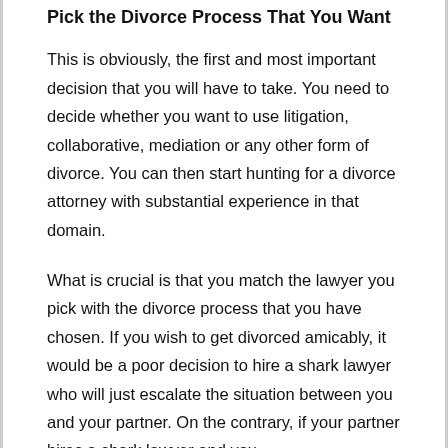Pick the Divorce Process That You Want
This is obviously, the first and most important decision that you will have to take. You need to decide whether you want to use litigation, collaborative, mediation or any other form of divorce. You can then start hunting for a divorce attorney with substantial experience in that domain.
What is crucial is that you match the lawyer you pick with the divorce process that you have chosen. If you wish to get divorced amicably, it would be a poor decision to hire a shark lawyer who will just escalate the situation between you and your partner. On the contrary, if your partner hires a shark lawyer and you